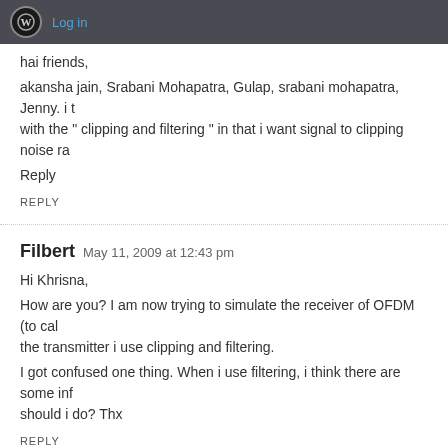Log in
hai friends,
akansha jain, Srabani Mohapatra, Gulap, srabani mohapatra, Jenny. i t with the " clipping and filtering " in that i want signal to clipping noise ra
Reply
REPLY
Filbert   May 11, 2009 at 12:43 pm
Hi Khrisna,
How are you? I am now trying to simulate the receiver of OFDM (to cal the transmitter i use clipping and filtering.
I got confused one thing. When i use filtering, i think there are some inf should i do? Thx
REPLY
Krishna Sankar   May 12, 2009 at 5:35 am
@Filbert: Well, if the filter frequency response is flat in the region w